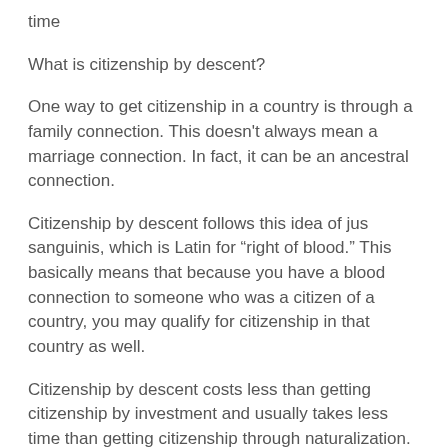time
What is citizenship by descent?
One way to get citizenship in a country is through a family connection. This doesn't always mean a marriage connection. In fact, it can be an ancestral connection.
Citizenship by descent follows this idea of jus sanguinis, which is Latin for “right of blood.” This basically means that because you have a blood connection to someone who was a citizen of a country, you may qualify for citizenship in that country as well.
Citizenship by descent costs less than getting citizenship by investment and usually takes less time than getting citizenship through naturalization. Citizenship by descent is truly the cheapest and easiest citizenship process if you qualify.